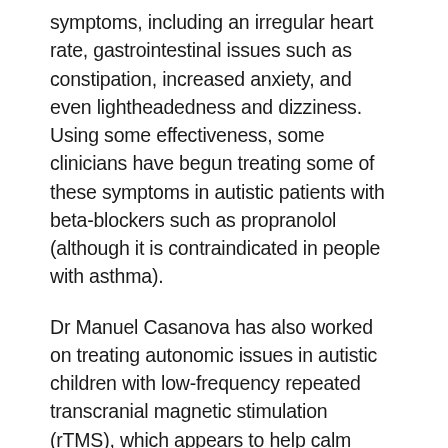symptoms, including an irregular heart rate, gastrointestinal issues such as constipation, increased anxiety, and even lightheadedness and dizziness. Using some effectiveness, some clinicians have begun treating some of these symptoms in autistic patients with beta-blockers such as propranolol (although it is contraindicated in people with asthma).
Dr Manuel Casanova has also worked on treating autonomic issues in autistic children with low-frequency repeated transcranial magnetic stimulation (rTMS), which appears to help calm some of the hyperexcitability of the brain in autism and has both relaxing and stimulatory effects on the fight-or-flight branch of the nervous system. Following treatment, behavioral